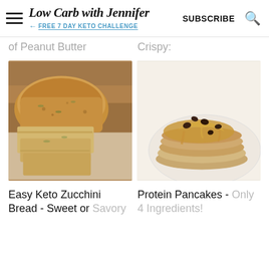Low Carb with Jennifer — FREE 7 DAY KETO CHALLENGE | SUBSCRIBE
of Peanut Butter   Crispy:
[Figure (photo): Sliced zucchini bread loaf on a wooden cutting board, viewed from above, with golden-brown crust]
[Figure (photo): Stack of protein pancakes topped with peanut butter sauce and chocolate chips on a white plate]
Easy Keto Zucchini Bread - Sweet or Savory
Protein Pancakes - Only 4 Ingredients!